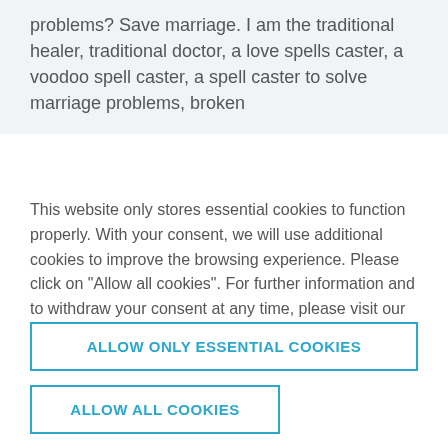problems? Save marriage. I am the traditional healer, traditional doctor, a love spells caster, a voodoo spell caster, a spell caster to solve marriage problems, broken
This website only stores essential cookies to function properly. With your consent, we will use additional cookies to improve the browsing experience. Please click on "Allow all cookies". For further information and to withdraw your consent at any time, please visit our Privacy Policy page.
ALLOW ONLY ESSENTIAL COOKIES
ALLOW ALL COOKIES